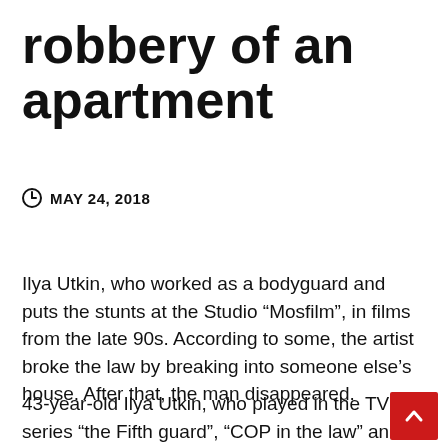robbery of an apartment
MAY 24, 2018
Ilya Utkin, who worked as a bodyguard and puts the stunts at the Studio “Mosfilm”, in films from the late 90s. According to some, the artist broke the law by breaking into someone else’s house. After that, the man disappeared.
43-year-old Ilya Utkin, who played in the TV series “the Fifth guard”, “COP in the law” and